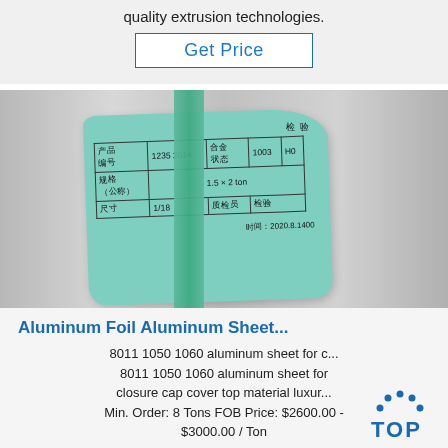quality extrusion technologies.
[Figure (other): Get Price button with border]
[Figure (photo): Photo of aluminum roll with green inspection label containing Chinese handwritten text in a table format, with a green strap across the roll.]
Aluminum Foil Aluminum Sheet...
8011 1050 1060 aluminum sheet for c... 8011 1050 1060 aluminum sheet for closure cap cover top material luxur... Min. Order: 8 Tons FOB Price: $2600.00 - $3000.00 / Ton
[Figure (logo): TOP logo with dotted arc above the word TOP in blue]